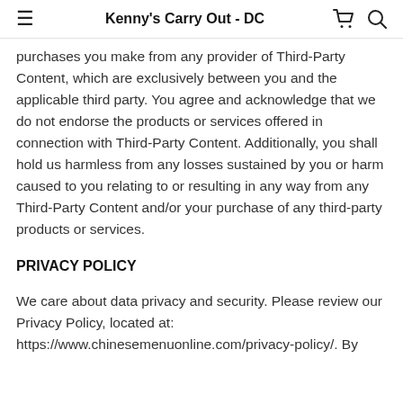Kenny's Carry Out - DC
purchases you make from any provider of Third-Party Content, which are exclusively between you and the applicable third party. You agree and acknowledge that we do not endorse the products or services offered in connection with Third-Party Content. Additionally, you shall hold us harmless from any losses sustained by you or harm caused to you relating to or resulting in any way from any Third-Party Content and/or your purchase of any third-party products or services.
PRIVACY POLICY
We care about data privacy and security. Please review our Privacy Policy, located at: https://www.chinesemenuonline.com/privacy-policy/. By